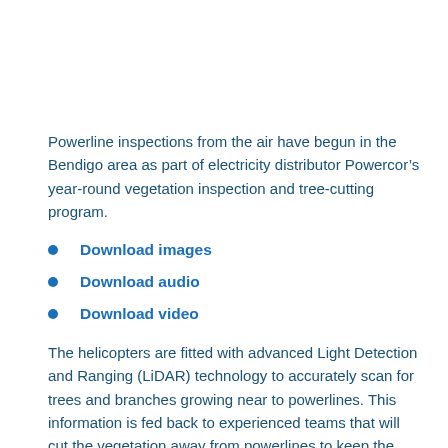Powerline inspections from the air have begun in the Bendigo area as part of electricity distributor Powercor’s year-round vegetation inspection and tree-cutting program.
Download images
Download audio
Download video
The helicopters are fitted with advanced Light Detection and Ranging (LiDAR) technology to accurately scan for trees and branches growing near to powerlines. This information is fed back to experienced teams that will cut the vegetation away from powerlines to keep the network and community safe.